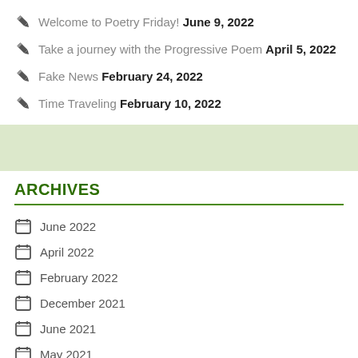Welcome to Poetry Friday! June 9, 2022
Take a journey with the Progressive Poem April 5, 2022
Fake News February 24, 2022
Time Traveling February 10, 2022
ARCHIVES
June 2022
April 2022
February 2022
December 2021
June 2021
May 2021
April 2021